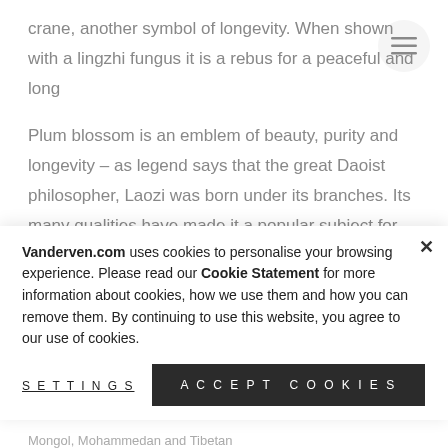crane, another symbol of longevity. When shown with a lingzhi fungus it is a rebus for a peaceful and long
Plum blossom is an emblem of beauty, purity and longevity – as legend says that the great Daoist philosopher, Laozi was born under its branches. Its many qualities have made it a popular subject for poetry for centuries. The Song poet Lin Bu spent his days feeding cranes and planting plum trees near West
Vanderven.com uses cookies to personalise your browsing experience. Please read our Cookie Statement for more information about cookies, how we use them and how you can remove them. By continuing to use this website, you agree to our use of cookies.
SETTINGS
ACCEPT COOKIES
Mongol, Mohammedan and Tibetan